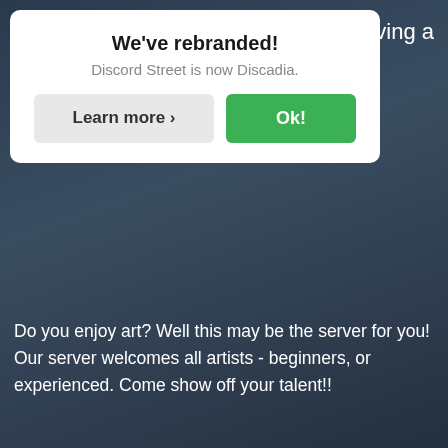, and having a
[Figure (screenshot): A white modal popup dialog with title 'We've rebranded!', subtitle 'Discord Street is now Discadia.', a 'Learn more >' button in gray and an 'Ok!' button in green.]
Do you enjoy art? Well this may be the server for you! Our server welcomes all artists - beginners, or experienced. Come show off your talent!!
✏Anime/Animation✏
We enjoy art, animation, and anime!
🎮Playful Bots🎮
Mudae, Karuta, OwObot, Dank Memer and more!